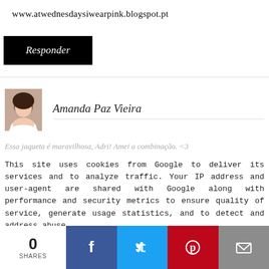www.atwednesdaysiwearpink.blogspot.pt
Responder
Amanda Paz Vieira
Essa jaqueta é maravilhosa, Adri! Amei a combinação. <3
This site uses cookies from Google to deliver its services and to analyze traffic. Your IP address and user-agent are shared with Google along with performance and security metrics to ensure quality of service, generate usage statistics, and to detect and address abuse.
0 SHARES
[Figure (infographic): Social share bar with Facebook, Twitter, Pinterest, and email buttons]